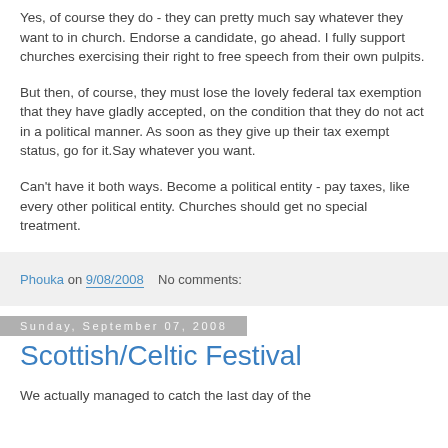Yes, of course they do - they can pretty much say whatever they want to in church. Endorse a candidate, go ahead. I fully support churches exercising their right to free speech from their own pulpits.
But then, of course, they must lose the lovely federal tax exemption that they have gladly accepted, on the condition that they do not act in a political manner. As soon as they give up their tax exempt status, go for it.Say whatever you want.
Can't have it both ways. Become a political entity - pay taxes, like every other political entity. Churches should get no special treatment.
Phouka on 9/08/2008    No comments:
Sunday, September 07, 2008
Scottish/Celtic Festival
We actually managed to catch the last day of the